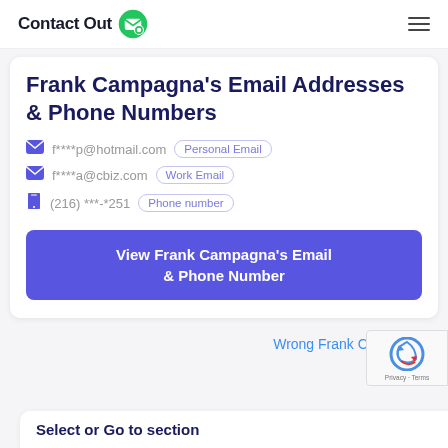ContactOut
Frank Campagna's Email Addresses & Phone Numbers
f****p@hotmail.com  Personal Email
f****a@cbiz.com  Work Email
(216) ***-*251  Phone number
View Frank Campagna's Email & Phone Number
Wrong Frank Campagna?
Select or Go to section